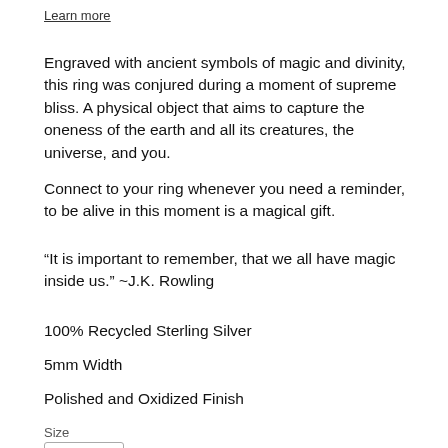Learn more
Engraved with ancient symbols of magic and divinity, this ring was conjured during a moment of supreme bliss. A physical object that aims to capture the oneness of the earth and all its creatures, the universe, and you.
Connect to your ring whenever you need a reminder, to be alive in this moment is a magical gift.
“It is important to remember, that we all have magic inside us.” ~J.K. Rowling
100% Recycled Sterling Silver
5mm Width
Polished and Oxidized Finish
Size
6